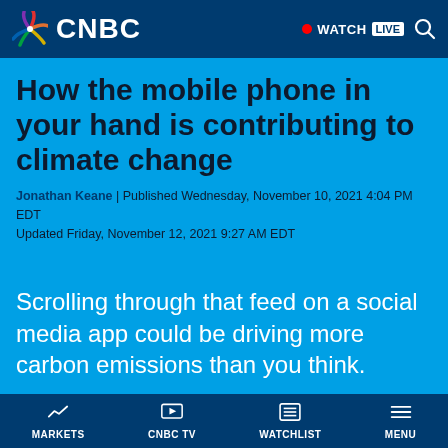CNBC | WATCH LIVE
How the mobile phone in your hand is contributing to climate change
Jonathan Keane | Published Wednesday, November 10, 2021 4:04 PM EDT
Updated Friday, November 12, 2021 9:27 AM EDT
Scrolling through that feed on a social media app could be driving more carbon emissions than you think.
MARKETS | CNBC TV | WATCHLIST | MENU